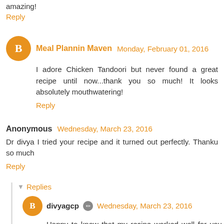amazing!
Reply
Meal Plannin Maven  Monday, February 01, 2016
I adore Chicken Tandoori but never found a great recipe until now...thank you so much! It looks absolutely mouthwatering!
Reply
Anonymous  Wednesday, March 23, 2016
Dr divya I tried your recipe and it turned out perfectly. Thanku so much
Reply
Replies
divyagcp  Wednesday, March 23, 2016
Happy to know that my recipe worked well for you. Thanks for the feedback!!